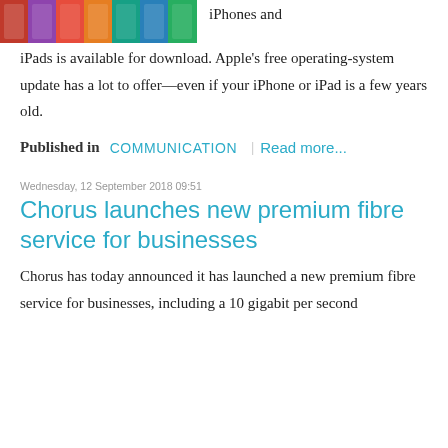[Figure (photo): A row of iPhones and iPads showing colorful screens, cropped at the top of the page]
iPhones and iPads is available for download. Apple's free operating-system update has a lot to offer—even if your iPhone or iPad is a few years old.
Published in  COMMUNICATION  |  Read more...
Wednesday, 12 September 2018 09:51
Chorus launches new premium fibre service for businesses
Chorus has today announced it has launched a new premium fibre service for businesses, including a 10 gigabit per second